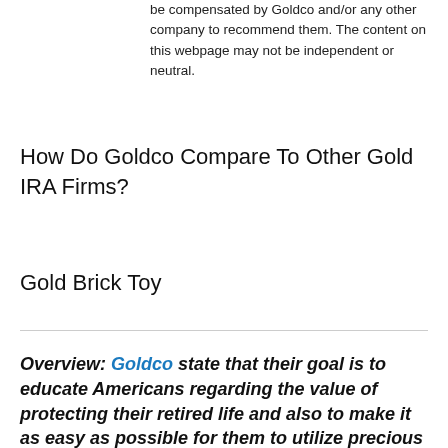be compensated by Goldco and/or any other company to recommend them. The content on this webpage may not be independent or neutral.
How Do Goldco Compare To Other Gold IRA Firms?
Gold Brick Toy
Overview: Goldco state that their goal is to educate Americans regarding the value of protecting their retired life and also to make it as easy as possible for them to utilize precious metals to safeguard their retirement portfolios from inflation, securities market volatility and also economic